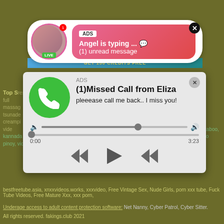[Figure (screenshot): Top ad popup showing a woman with LIVE badge, pink gradient box with 'ADS' label, 'Angel is typing ... 💬' and '(1) unread message']
[Figure (screenshot): Phone call notification popup with green phone icon, 'ADS', '(1)Missed Call from Eliza', 'pleeease call me back.. I miss you!', audio controls showing 0:00 and 3:23, rewind/play/fast-forward buttons]
Top S... restaura... malif sex... boy, full... net, you... massage... kendall h... tsunade... jewel fre... creampi... mesum a... ghagra sex vide... sex movies, manish karoloa sex, mompur hot sex video, xxx taboo, kannada local village sex video, model katrina halili and dr kho hayden leaked sex tape video pinoy, videl pussy, granny forced sleeping fuck porn, tilatequilaporn, moms oussy,
bestfreetube.asia, xnxxvideos.works, xxxvideo, Free Vintage Sex, Nude Girls, porn xxx tube, Fuck Tube Videos, Free Mature Xxx, xxx porn,
Underage access to adult content protection software: Net Nanny, Cyber Patrol, Cyber Sitter.
All rights reserved. fakings.club 2021